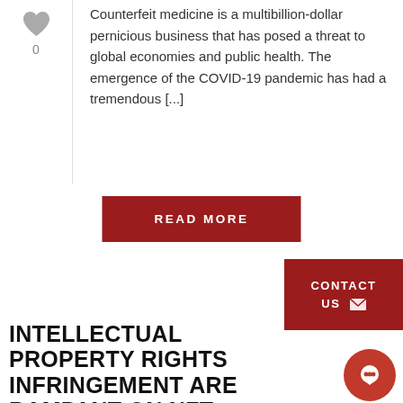Counterfeit medicine is a multibillion-dollar pernicious business that has posed a threat to global economies and public health. The emergence of the COVID-19 pandemic has had a tremendous [...]
READ MORE
CONTACT US
INTELLECTUAL PROPERTY RIGHTS INFRINGEMENT ARE RAMPANT ON NFT MARKETPLACE
items, collections, and accounts
[Figure (screenshot): Row of four NFT marketplace thumbnail images showing: dark cloudy sky, yellow bottle, rainbow cat meme, blue abstract art]
[Figure (illustration): Red circular chat bubble icon]